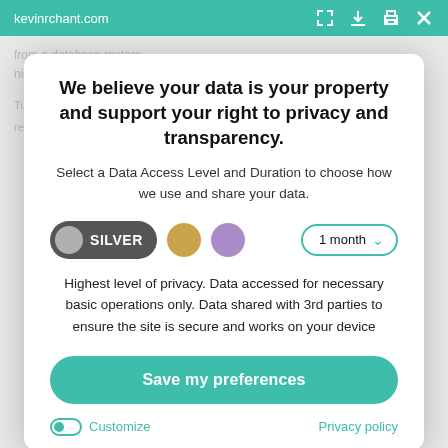kevinrchant.com
We believe your data is your property and support your right to privacy and transparency.
Select a Data Access Level and Duration to choose how we use and share your data.
SILVER   1 month
Highest level of privacy. Data accessed for necessary basic operations only. Data shared with 3rd parties to ensure the site is secure and works on your device
Save my preferences
Customize   Privacy policy